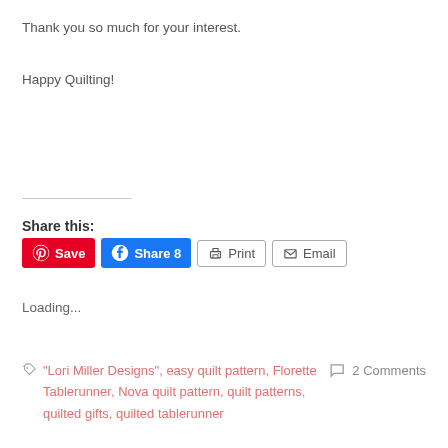Thank you so much for your interest.
Happy Quilting!
Share this:
Save | Share 8 | Print | Email
Loading...
"Lori Miller Designs", easy quilt pattern, Florette Tablerunner, Nova quilt pattern, quilt patterns, quilted gifts, quilted tablerunner
2 Comments